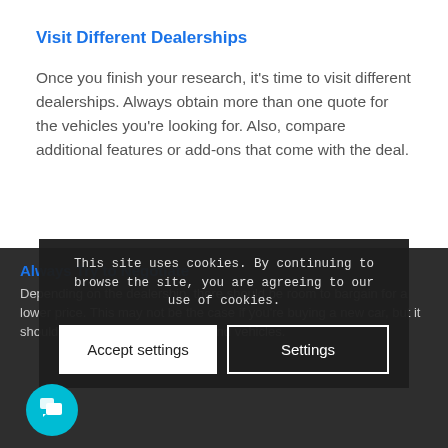Visit Different Dealerships
Once you finish your research, it's time to visit different dealerships. Always obtain more than one quote for the vehicles you're looking for. Also, compare additional features or add-ons that come with the deal.
Always Try to Negotiate
Depending on the dealership, there should be room to bargain for a lower price. This may not be the case if you're buying a new car, but it should be an option for second-hand vehicles.
This site uses cookies. By continuing to browse the site, you are agreeing to our use of cookies.